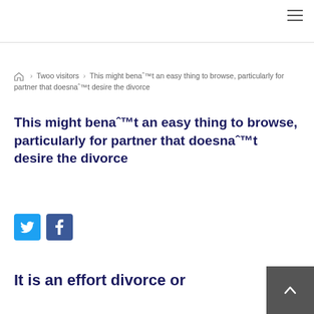🏠 › Twoo visitors › This might benaˆ™t an easy thing to browse, particularly for partner that doesnaˆ™t desire the divorce
This might benaˆ™t an easy thing to browse, particularly for partner that doesnaˆ™t desire the divorce
[Figure (other): Twitter and Facebook social share buttons]
It is an effort divorce or